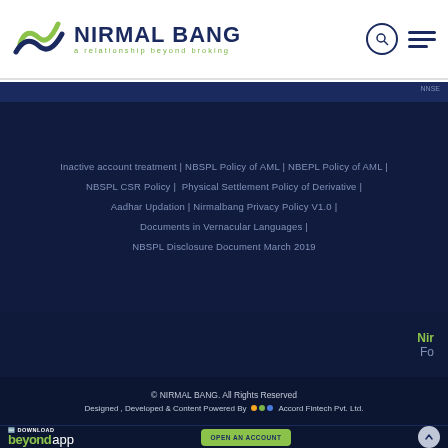[Figure (logo): Nirmal Bang logo with wave/chevron symbol in green and dark blue, text 'NIRMAL BANG' in dark navy bold, tagline 'a relationship beyond broking' in lime green]
Inactive account treatment | NBSPL Policy of AML | NBEPL Policy of AML | NBSPL CSR Policy | Physical Settlement Policy of Derivative | Aadhar Updation | Nirmalbang Privacy Policy V1.0 | Documents in Vernacular Languages | NBSPL Disclosure Document March 2019
Nir
Fo
© NIRMAL BANG. All Rights Reserved
Designed , Developed & Content Powered By ●●● Accord Fintech Pvt. Ltd.
DOWNLOAD beyond app
OPEN AN ACCOUNT